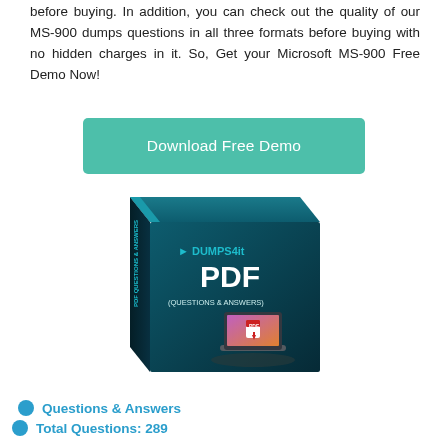before buying. In addition, you can check out the quality of our MS-900 dumps questions in all three formats before buying with no hidden charges in it. So, Get your Microsoft MS-900 Free Demo Now!
[Figure (illustration): Teal/green rounded rectangle button labeled 'Download Free Demo' in white text]
[Figure (illustration): 3D product box for Dumps4it PDF (Questions & Answers) showing a dark teal box with white text and a laptop with PDF icon on screen]
Questions & Answers
Total Questions: 289